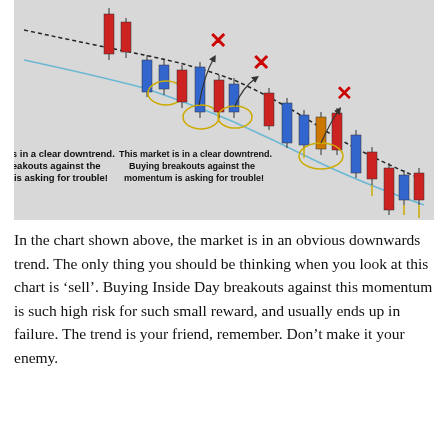[Figure (other): Candlestick chart showing a clear downtrend with red X marks on failed bullish breakout attempts at inside day patterns. Moving average lines (blue/black) slope downward. Yellow circles highlight inside day setups. Arrows point from inside day doji patterns up to red X failure markers. Annotation text reads: 'This market is in a clear downtrend. Buying breakouts against the momentum is asking for trouble!']
In the chart shown above, the market is in an obvious downwards trend. The only thing you should be thinking when you look at this chart is ‘sell’. Buying Inside Day breakouts against this momentum is such high risk for such small reward, and usually ends up in failure. The trend is your friend, remember. Don’t make it your enemy.